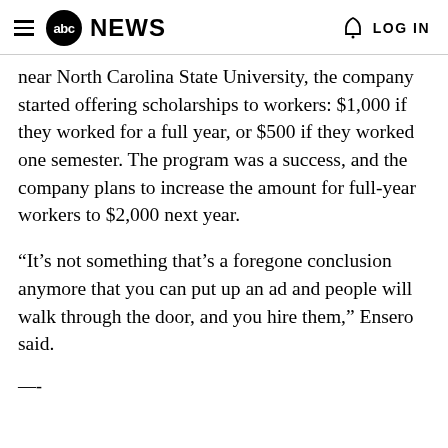abc NEWS  LOG IN
near North Carolina State University, the company started offering scholarships to workers: $1,000 if they worked for a full year, or $500 if they worked one semester. The program was a success, and the company plans to increase the amount for full-year workers to $2,000 next year.
“It’s not something that’s a foregone conclusion anymore that you can put up an ad and people will walk through the door, and you hire them,” Ensero said.
—-